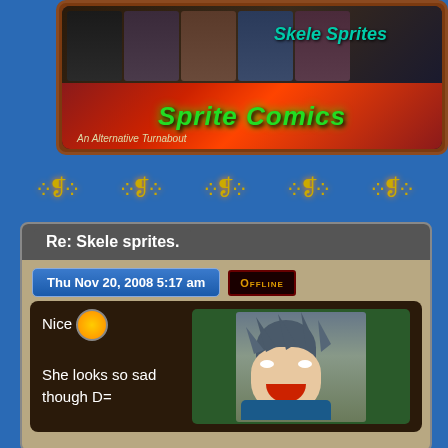[Figure (screenshot): Sprite Comics forum banner showing anime-style characters with 'Skele Sprites' and 'Sprite Comics - An Alternative Turnabout' headers]
[Figure (illustration): Decorative yellow/gold ornamental divider with comma/swirl motifs repeated five times]
Re: Skele sprites.
Thu Nov 20, 2008 5:17 am
Offline
Nice
She looks so sad though D=
[Figure (illustration): Anime-style avatar of a spiky dark-haired male character in a blue suit with wide eyes and open mouth]